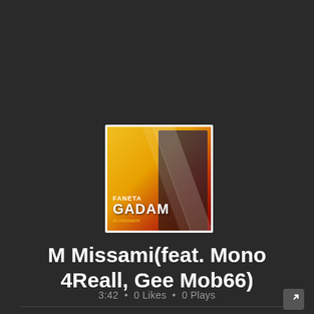[Figure (photo): Album art for 'M Missami' featuring two people (a woman in black and a man in yellow jacket), with yellow/gold background and diagonal white streaks. Text on album reads 'Faneta GADAM m missami']
M Missami(feat. Mono 4Reall, Gee Mob66)
3:42 • 0 Likes • 0 Plays